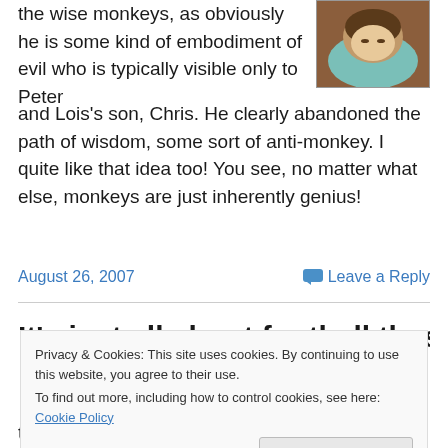the wise monkeys, as obviously he is some kind of embodiment of evil who is typically visible only to Peter and Lois's son, Chris. He clearly abandoned the path of wisdom, some sort of anti-monkey. I quite like that idea too! You see, no matter what else, monkeys are just inherently genius!
[Figure (illustration): Cartoon illustration of an animated character (appears to be from Family Guy) with brown hair and teal/green clothing, lying against a brown background]
August 26, 2007
Leave a Reply
It's just all about football these
Privacy & Cookies: This site uses cookies. By continuing to use this website, you agree to their use.
To find out more, including how to control cookies, see here: Cookie Policy
that is – I had the